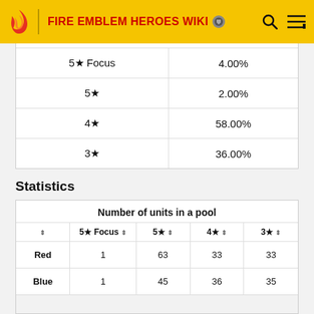FIRE EMBLEM HEROES WIKI
|  |  |
| --- | --- |
| 5★ Focus | 4.00% |
| 5★ | 2.00% |
| 4★ | 58.00% |
| 3★ | 36.00% |
Statistics
| Number of units in a pool |  |  |  |  |
| --- | --- | --- | --- | --- |
|  | 5★ Focus ⇕ | 5★ ⇕ | 4★ ⇕ | 3★ ⇕ |
| Red | 1 | 63 | 33 | 33 |
| Blue | 1 | 45 | 36 | 35 |